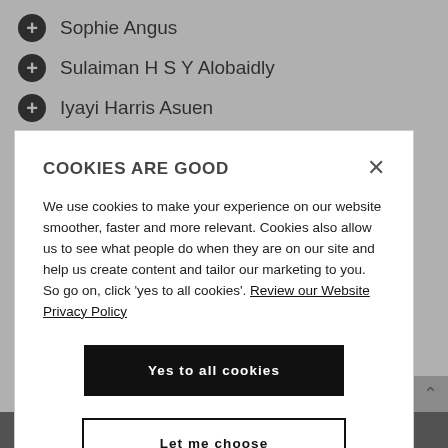Sophie Angus
Sulaiman H S Y Alobaidly
Iyayi Harris Asuen
Qamar Abbas
Chidubem Azubuike
COOKIES ARE GOOD

We use cookies to make your experience on our website smoother, faster and more relevant. Cookies also allow us to see what people do when they are on our site and help us create content and tailor our marketing to you. So go on, click 'yes to all cookies'. Review our Website Privacy Policy

Yes to all cookies

Let me choose